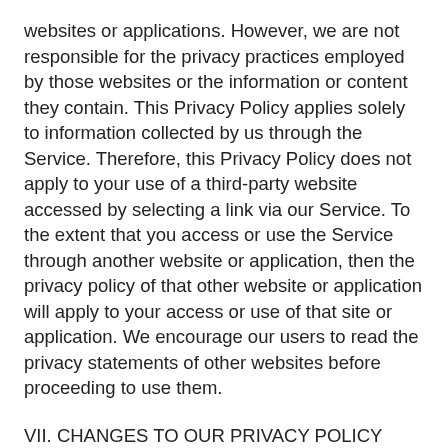websites or applications. However, we are not responsible for the privacy practices employed by those websites or the information or content they contain. This Privacy Policy applies solely to information collected by us through the Service. Therefore, this Privacy Policy does not apply to your use of a third-party website accessed by selecting a link via our Service. To the extent that you access or use the Service through another website or application, then the privacy policy of that other website or application will apply to your access or use of that site or application. We encourage our users to read the privacy statements of other websites before proceeding to use them.
VII. CHANGES TO OUR PRIVACY POLICY
The Company reserves the right to change this Privacy Policy and our Terms of Use at any time. If we decide to change this Privacy Policy, we will post these changes on this page so that you are always aware of what information we collect, how we use it, and under what